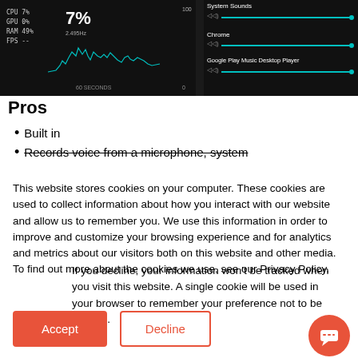[Figure (screenshot): Screenshot of a system performance monitor (CPU 7%, GPU 0%, RAM 49%, FPS --) with a waveform graph on the left, and a sound mixer panel on the right showing System Sounds, Chrome, and Google Play Music Desktop Player sliders.]
Pros
Built in
Records voice from a microphone, system
This website stores cookies on your computer. These cookies are used to collect information about how you interact with our website and allow us to remember you. We use this information in order to improve and customize your browsing experience and for analytics and metrics about our visitors both on this website and other media. To find out more about the cookies we use, see our Privacy Policy.
If you decline, your information won't be tracked when you visit this website. A single cookie will be used in your browser to remember your preference not to be tracked.